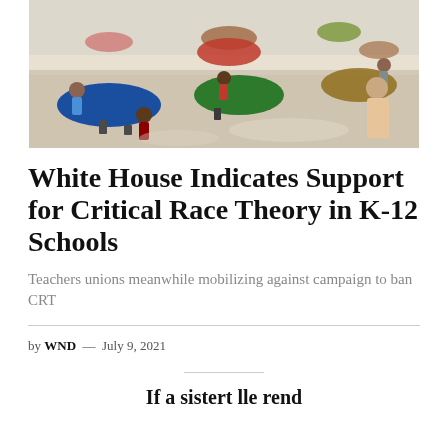[Figure (photo): Elementary school classroom with children sitting at round colorful tables (blue, green, red) spread apart; a teacher stands at right; bright lighting with reflective floor.]
White House Indicates Support for Critical Race Theory in K-12 Schools
Teachers unions meanwhile mobilizing against campaign to ban CRT
by WND — July 9, 2021
If a sistert lle rend